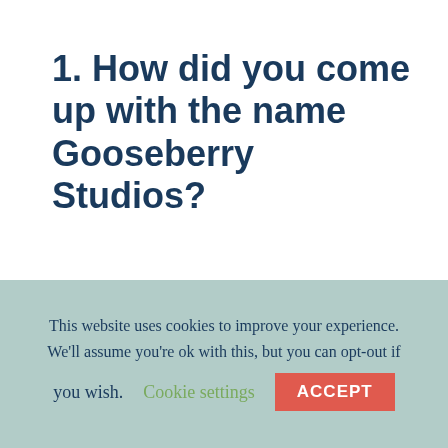1. How did you come up with the name Gooseberry Studios?
The name quite literally came out of thin air! After spending hours upon hours with Google looking up all sorts of name ideas for my print shop
This website uses cookies to improve your experience. We'll assume you're ok with this, but you can opt-out if you wish. Cookie settings ACCEPT